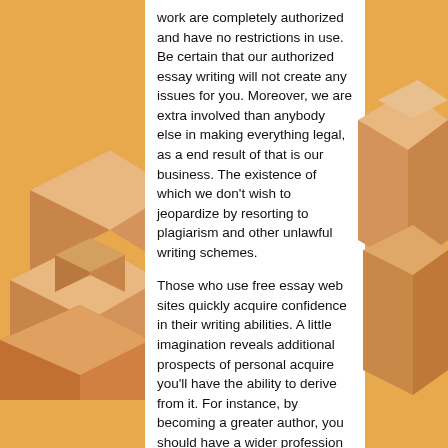[Figure (illustration): 3D interlocking wooden puzzle blocks illustration on the left side of the page against an orange background]
work are completely authorized and have no restrictions in use. Be certain that our authorized essay writing will not create any issues for you. Moreover, we are extra involved than anybody else in making everything legal, as a end result of that is our business. The existence of which we don't wish to jeopardize by resorting to plagiarism and other unlawful writing schemes.
Those who use free essay web sites quickly acquire confidence in their writing abilities. A little imagination reveals additional prospects of personal acquire you'll have the ability to derive from it. For instance, by becoming a greater author, you should have a wider profession selection and more career advancement opportunities. There is a cause why
[Figure (illustration): 3D interlocking wooden puzzle blocks illustration on the right side of the page against an orange background]